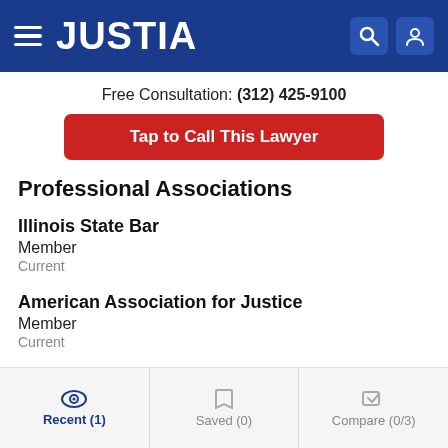JUSTIA
Free Consultation: (312) 425-9100
Tap to Call This Lawyer
Professional Associations
Illinois State Bar
Member
Current
American Association for Justice
Member
Current
Federal Bar Association
Member
Current
Recent (1)   Saved (0)   Compare (0/3)